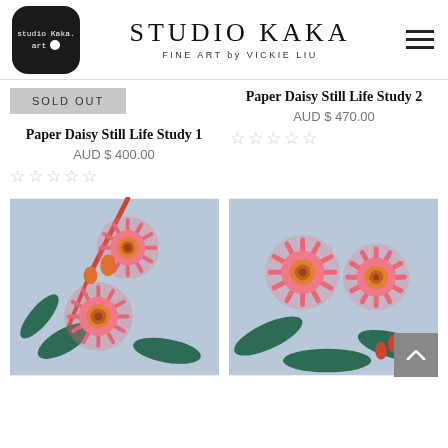[Figure (logo): Studio Kaka logo: black rounded square with white text 'studio Kaka. art' and white circle]
STUDIO KAKA
FINE ART by VICKIE LIU
SOLD OUT
Paper Daisy Still Life Study 2
AUD $ 470.00
☆☆☆☆☆
Paper Daisy Still Life Study 1
AUD $ 400.00
☆☆☆☆☆
[Figure (photo): Painting of pink eucalyptus flowers with orange centres and green leaves on light blue background]
[Figure (photo): Painting of pink eucalyptus flowers with orange centres and green leaves on light blue background, close-up view]